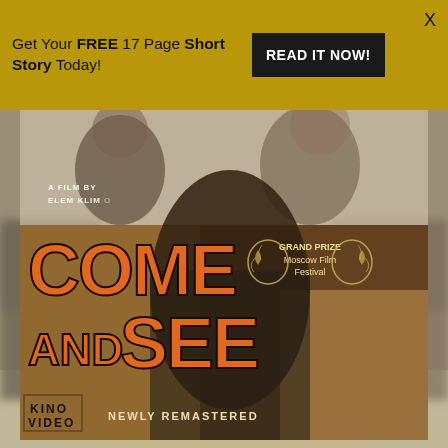Get Your FREE 17 Page Short Story Today!
READ IT NOW!
[Figure (photo): Movie poster advertisement for 'Come and See', a film by Elem Klimov. Large orange bold text reads 'COME AND SEE' on a dark film-stills background. Includes 'GRAND PRIZE Moscow Film Festival' laurel badge, KINO VIDEO logo, and 'NEWLY REMASTERED' text. Background shows blurred outdoor scene.]